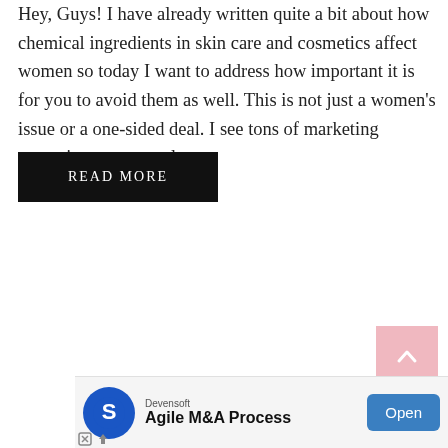Hey, Guys! I have already written quite a bit about how chemical ingredients in skin care and cosmetics affect women so today I want to address how important it is for you to avoid them as well. This is not just a women's issue or a one-sided deal. I see tons of marketing campaigns on natural …
READ MORE
[Figure (other): Scroll-to-top button with upward chevron arrow on pink background, bottom right corner]
[Figure (other): Advertisement banner: Devensoft Agile M&A Process with Open button]